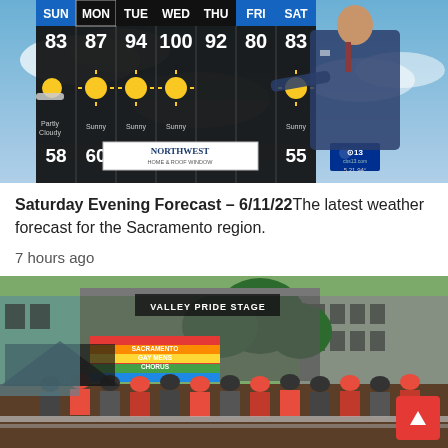[Figure (screenshot): TV weather forecast screen showing a 7-day forecast for Sacramento region. Days: SUN 83/58 Partly Cloudy, MON 87/60 Sunny, TUE 94/60 Sunny, WED 100/59 Sunny, THU 92 Sunny, FRI 80, SAT 83/55 Sunny. A male TV weather forecaster in a suit stands in front of the display. CBS13 logo visible. Northwest Home & Roof Window sponsor banner shown.]
Saturday Evening Forecast – 6/11/22 The latest weather forecast for the Sacramento region.
7 hours ago
[Figure (photo): Outdoor photo of a Pride event showing a crowd gathered at the Valley Pride Stage. A Sacramento Gay Men's Chorus rainbow banner is visible. Trees and urban buildings in background.]